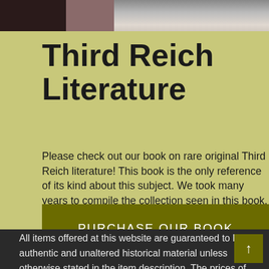[Figure (photo): Partial photo of what appears to be a book or dark object on a light surface, cropped at top of page]
Third Reich Literature
Please check out our book on rare original Third Reich literature! This book is the only reference of its kind about this subject. We took many years to compile the collection seen in this book.
PURCHASE OUR BOOK
All items offered at this website are guaranteed to be authentic and unaltered historical material unless otherwise stated in the item description. The prices of the objects for sale at this website include shipping with First Class or Priority Mail within the U.S., please ask for